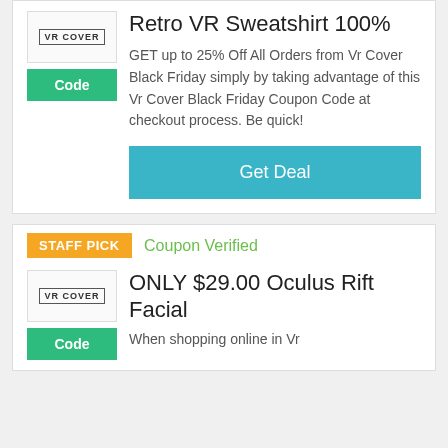Retro VR Sweatshirt 100%
GET up to 25% Off All Orders from Vr Cover Black Friday simply by taking advantage of this Vr Cover Black Friday Coupon Code at checkout process. Be quick!
Get Deal
STAFF PICK
Coupon Verified
ONLY $29.00 Oculus Rift Facial
When shopping online in Vr